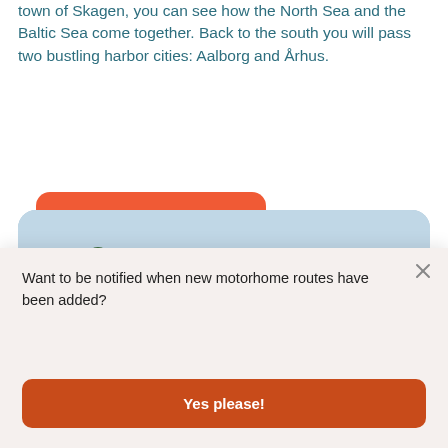town of Skagen, you can see how the North Sea and the Baltic Sea come together. Back to the south you will pass two bustling harbor cities: Aalborg and Århus.
More about this route
[Figure (photo): Coastal landscape photo showing green cliffs, blue sky, and sea in the background, with rounded rectangle crop]
Want to be notified when new motorhome routes have been added?
Yes please!